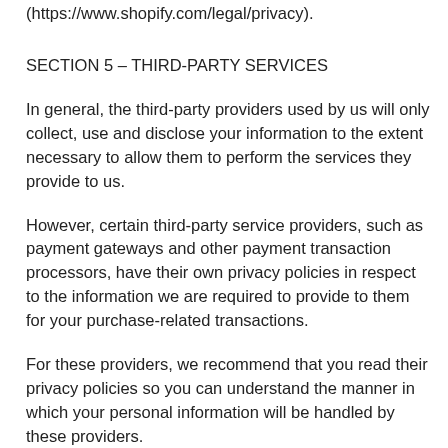(https://www.shopify.com/legal/privacy).
SECTION 5 – THIRD-PARTY SERVICES
In general, the third-party providers used by us will only collect, use and disclose your information to the extent necessary to allow them to perform the services they provide to us.
However, certain third-party service providers, such as payment gateways and other payment transaction processors, have their own privacy policies in respect to the information we are required to provide to them for your purchase-related transactions.
For these providers, we recommend that you read their privacy policies so you can understand the manner in which your personal information will be handled by these providers.